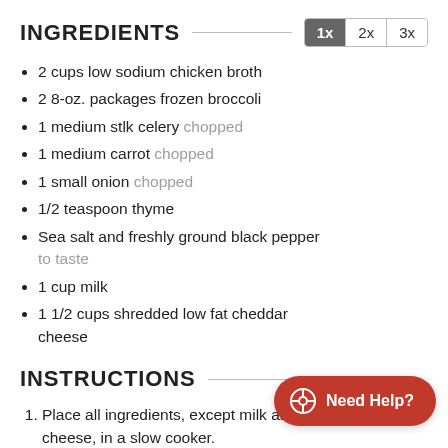INGREDIENTS
2 cups low sodium chicken broth
2 8-oz. packages frozen broccoli
1 medium stlk celery chopped
1 medium carrot chopped
1 small onion chopped
1/2 teaspoon thyme
Sea salt and freshly ground black pepper to taste
1 cup milk
1 1/2 cups shredded low fat cheddar cheese
INSTRUCTIONS
Place all ingredients, except milk and cheese, in a slow cooker.
Cover and cook on LOW until for 4 to 6